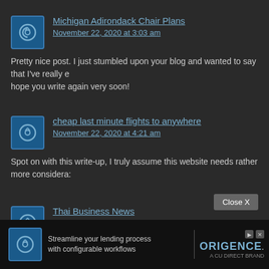Michigan Adirondack Chair Plans
November 22, 2020 at 3:03 am
Pretty nice post. I just stumbled upon your blog and wanted to say that I've really enjoyed browsing your blog posts. In any case I'll be subscribing to your feed and I hope you write again very soon!
cheap last minute flights to anywhere
November 22, 2020 at 4:21 am
Spot on with this write-up, I truly assume this website needs rather more consideration.
Thai Business News
November 22, 2020 at 11:17 am
hello!,I really like your writing very a lot! percentage we be in contact extra approximately your post on AOL? I need an expert on this area to unravel my problem. Maybe that is you! Having a look forward to look you.
[Figure (other): Advertisement banner: Streamline your lending process with configurable workflows - ORIGENCE A CU DIRECT BRAND]